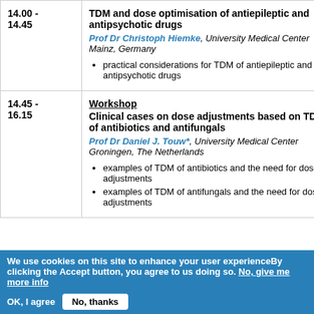| Time | Session |
| --- | --- |
| 14.00 - 14.45 | TDM and dose optimisation of antiepileptic and antipsychotic drugs
Prof Dr Christoph Hiemke, University Medical Center Mainz, Germany
• practical considerations for TDM of antiepileptic and antipsychotic drugs |
| 14.45 - 16.15 | Workshop
Clinical cases on dose adjustments based on TDM of antibiotics and antifungals
Prof Dr Daniel J. Touw*, University Medical Center Groningen, The Netherlands
• examples of TDM of antibiotics and the need for dose adjustments
• examples of TDM of antifungals and the need for dose adjustments |
We use cookies on this site to enhance your user experienceBy clicking the Accept button, you agree to us doing so. No, give me more info
OK, I agree   No, thanks